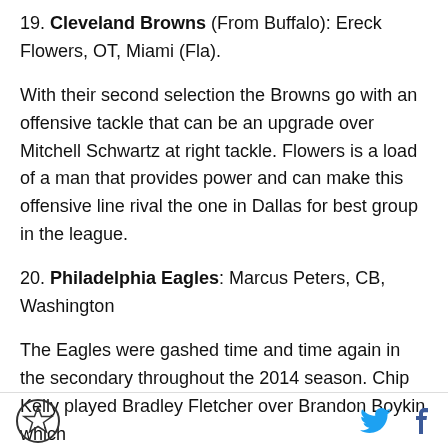19. Cleveland Browns (From Buffalo): Ereck Flowers, OT, Miami (Fla).
With their second selection the Browns go with an offensive tackle that can be an upgrade over Mitchell Schwartz at right tackle. Flowers is a load of a man that provides power and can make this offensive line rival the one in Dallas for best group in the league.
20. Philadelphia Eagles: Marcus Peters, CB, Washington
The Eagles were gashed time and time again in the secondary throughout the 2014 season. Chip Kelly played Bradley Fletcher over Brandon Boykin which